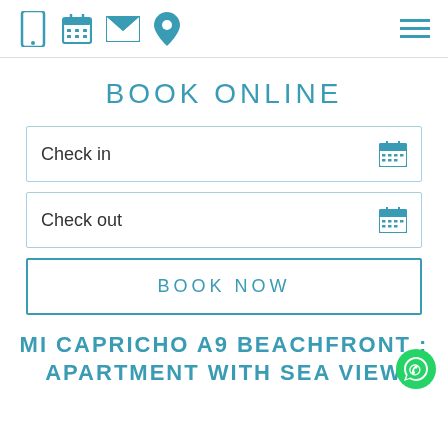Navigation icons: phone, calendar, mail, location, hamburger menu
BOOK ONLINE
Check in
Check out
BOOK NOW
MI CAPRICHO A9 BEACHFRONT : APARTMENT WITH SEA VIEW